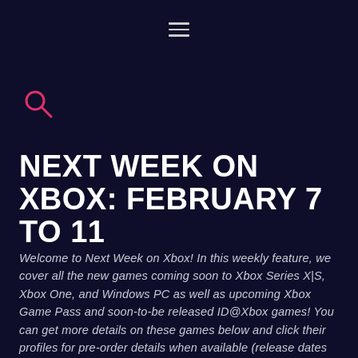[Figure (other): Hamburger menu icon (three horizontal lines) centered at top of page]
[Figure (other): Pink/magenta search icon (magnifying glass) in upper left area]
NEXT WEEK ON XBOX: FEBRUARY 7 TO 11
Welcome to Next Week on Xbox! In this weekly feature, we cover all the new games coming soon to Xbox Series X|S, Xbox One, and Windows PC as well as upcoming Xbox Game Pass and soon-to-be released ID@Xbox games! You can get more details on these games below and click their profiles for pre-order details when available (release dates are subject to change). Let's jump in!